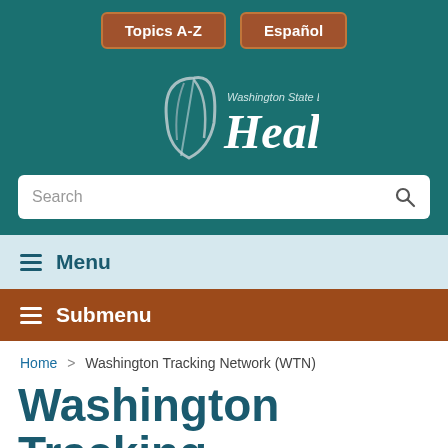[Figure (logo): Washington State Department of Health logo with stylized feather/leaf icon and text]
Topics A-Z | Español
Search
Menu
Submenu
Home > Washington Tracking Network (WTN)
Washington Tracking